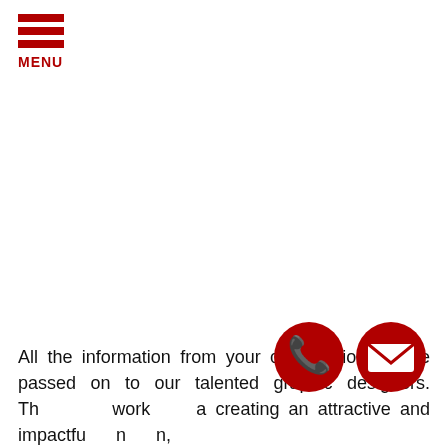MENU
All the information from your consultation will be passed on to our talented graphic designers. They work at creating an attractive and impactful design,